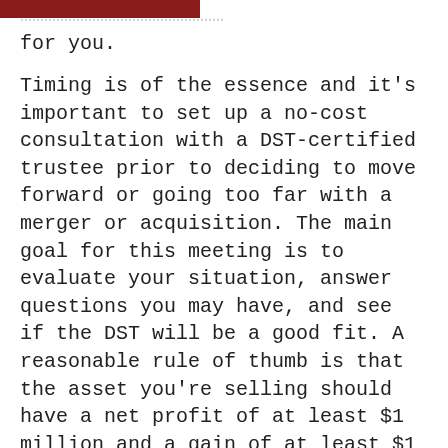for you.
Timing is of the essence and it's important to set up a no-cost consultation with a DST-certified trustee prior to deciding to move forward or going too far with a merger or acquisition. The main goal for this meeting is to evaluate your situation, answer questions you may have, and see if the DST will be a good fit. A reasonable rule of thumb is that the asset you're selling should have a net profit of at least $1 million and a gain of at least $1 million. If you decide to proceed with the DST for your merger or acquisition, your next meeting will be with a DST tax attorney and a registered investment advisor.